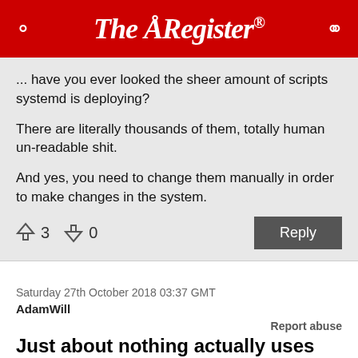The Register
... have you ever looked the sheer amount of scripts systemd is deploying?

There are literally thousands of them, totally human un-readable shit.

And yes, you need to change them manually in order to make changes in the system.
↑3  ↓0   Reply
Saturday 27th October 2018 03:37 GMT
AdamWill
Report abuse
Just about nothing actually uses networkd
"In addition to Ubuntu and Red Hat Enterprise Linux, Systemd has been adopted as a service manager for Debian, Fedora, CoreOS, Mint, and SUSE Linux